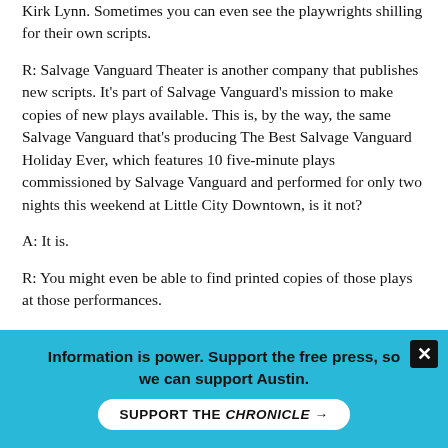Kirk Lynn. Sometimes you can even see the playwrights shilling for their own scripts.
R: Salvage Vanguard Theater is another company that publishes new scripts. It's part of Salvage Vanguard's mission to make copies of new plays available. This is, by the way, the same Salvage Vanguard that's producing The Best Salvage Vanguard Holiday Ever, which features 10 five-minute plays commissioned by Salvage Vanguard and performed for only two nights this weekend at Little City Downtown, is it not?
A: It is.
R: You might even be able to find printed copies of those plays at those performances.
A: And even if you couldn't, I feel sure someone would be willing to run off and photocopy one of them for you.
R: I know that all 14 plays produced to date by Salvage Vanguard are available, for only $5 apiece, through Salvage Vanguard: 2116
Information is power. Support the free press, so we can support Austin.
SUPPORT THE CHRONICLE →